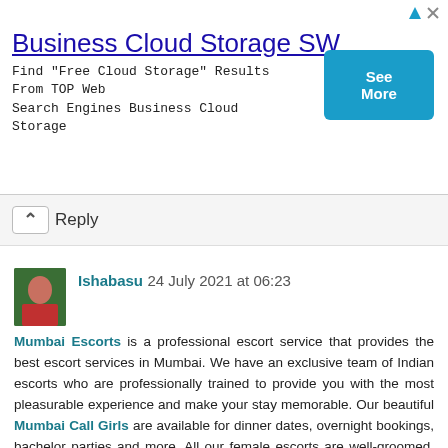[Figure (screenshot): Advertisement banner for Business Cloud Storage SW with a blue 'See More' button and ad attribution icons]
Business Cloud Storage SW
Find "Free Cloud Storage" Results From TOP Web Search Engines Business Cloud Storage
Reply
Ishabasu 24 July 2021 at 06:23
Mumbai Escorts is a professional escort service that provides the best escort services in Mumbai. We have an exclusive team of Indian escorts who are professionally trained to provide you with the most pleasurable experience and make your stay memorable. Our beautiful Mumbai Call Girls are available for dinner dates, overnight bookings, bachelor parties and more. All our female escorts are well-groomed, educated and speak English fluently which makes them perfect companions for any occasion or event.
Our Mumbai Call Girls Location